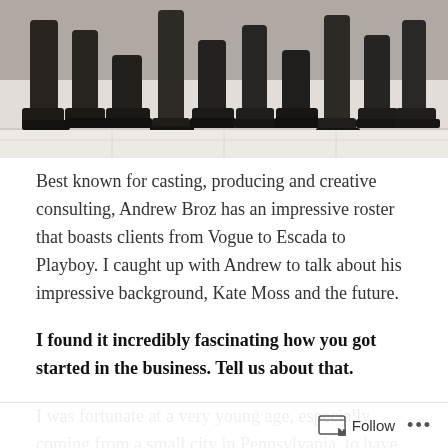[Figure (photo): Photo showing feet and legs of a group of people wearing dark boots and shoes, standing on a light tiled floor, cropped at waist level]
Best known for casting, producing and creative consulting, Andrew Broz has an impressive roster that boasts clients from Vogue to Escada to Playboy. I caught up with Andrew to talk about his impressive background, Kate Moss and the future.
I found it incredibly fascinating how you got started in the business. Tell us about that.
I was fortunate at a very young age, especially coming from a small city in Pennsylvania, to have parents who supported my love for the entertainment industry. I started
Follow ...